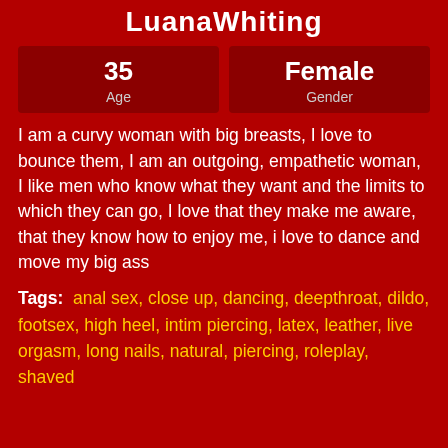LuanaWhiting
| Age | Gender |
| --- | --- |
| 35 | Female |
I am a curvy woman with big breasts, I love to bounce them, I am an outgoing, empathetic woman, I like men who know what they want and the limits to which they can go, I love that they make me aware, that they know how to enjoy me, i love to dance and move my big ass
Tags: anal sex, close up, dancing, deepthroat, dildo, footsex, high heel, intim piercing, latex, leather, live orgasm, long nails, natural, piercing, roleplay, shaved